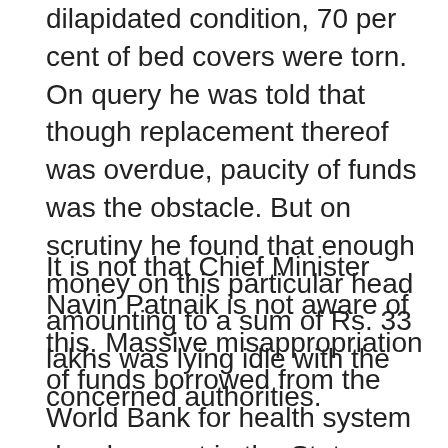dilapidated condition, 70 per cent of bed covers were torn. On query he was told that though replacement thereof was overdue, paucity of funds was the obstacle. But on scrutiny he found that enough money on this particular head amounting to a sum of Rs. 33 lakhs was lying idle with the concerned authorities.
It is not that Chief Minister Navin Patnaik is not aware of this. Massive misappropriation of funds borrowed from the World Bank for health system development in the State unveiled by the World Bank teams is such serious an offense that the CM cannot say that it had not come to his attention. So, it is natural that he